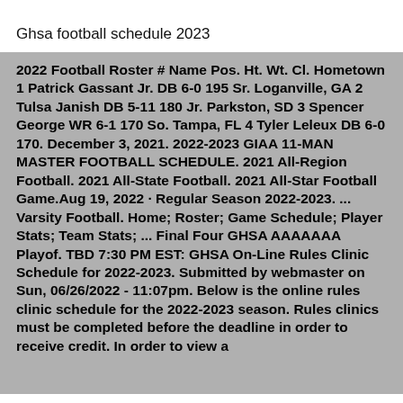Ghsa football schedule 2023
2022 Football Roster # Name Pos. Ht. Wt. Cl. Hometown 1 Patrick Gassant Jr. DB 6-0 195 Sr. Loganville, GA 2 Tulsa Janish DB 5-11 180 Jr. Parkston, SD 3 Spencer George WR 6-1 170 So. Tampa, FL 4 Tyler Leleux DB 6-0 170. December 3, 2021. 2022-2023 GIAA 11-MAN MASTER FOOTBALL SCHEDULE. 2021 All-Region Football. 2021 All-State Football. 2021 All-Star Football Game.Aug 19, 2022 · Regular Season 2022-2023. ... Varsity Football. Home; Roster; Game Schedule; Player Stats; Team Stats; ... Final Four GHSA AAAAAAA Playof. TBD 7:30 PM EST: GHSA On-Line Rules Clinic Schedule for 2022-2023. Submitted by webmaster on Sun, 06/26/2022 - 11:07pm. Below is the online rules clinic schedule for the 2022-2023 season. Rules clinics must be completed before the deadline in order to receive credit. In order to view a